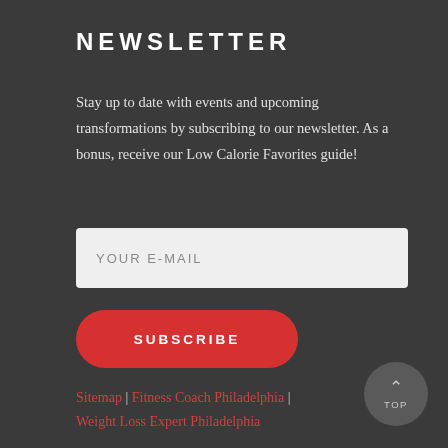NEWSLETTER
Stay up to date with events and upcoming transformations by subscribing to our newsletter. As a bonus, receive our Low Calorie Favorites guide!
[Figure (other): Email input field with placeholder text YOUR E-MAIL]
[Figure (other): Red rounded SUBSCRIBE button]
Sitemap | Fitness Coach Philadelphia | Weight Loss Expert Philadelphia
[Figure (other): Circular TOP button with upward arrow and TOP label]